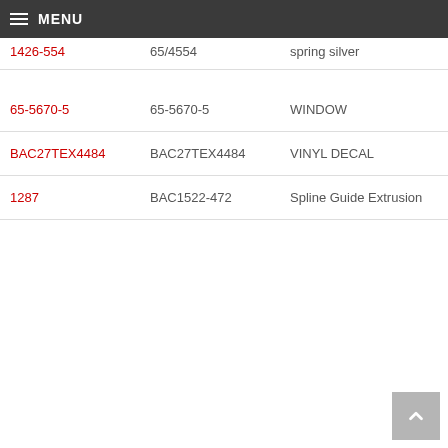MENU
| Part Number (link) | Part Number | Description |
| --- | --- | --- |
| 1426-554 | 65/4554 | spring silver |
| 65-5670-5 | 65-5670-5 | WINDOW |
| BAC27TEX4484 | BAC27TEX4484 | VINYL DECAL |
| 1287 | BAC1522-472 | Spline Guide Extrusion |